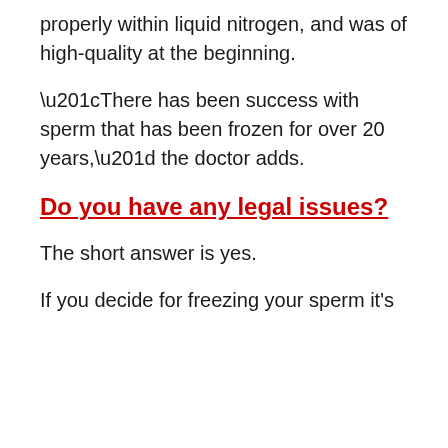properly within liquid nitrogen, and was of high-quality at the beginning.
“There has been success with sperm that has been frozen for over 20 years,” the doctor adds.
Do you have any legal issues?
The short answer is yes.
If you decide for freezing your sperm it’s